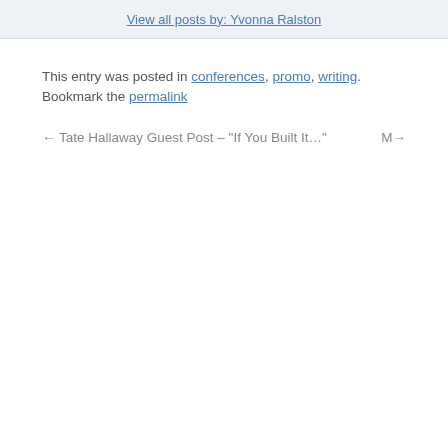View all posts by: Yvonna Ralston
This entry was posted in conferences, promo, writing. Bookmark the permalink
← Tate Hallaway Guest Post – "If You Built It…"   M→